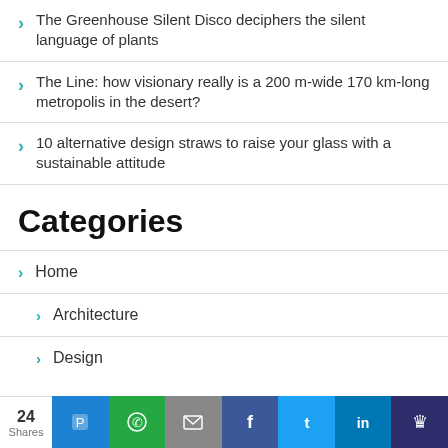The Greenhouse Silent Disco deciphers the silent language of plants
The Line: how visionary really is a 200 m-wide 170 km-long metropolis in the desert?
10 alternative design straws to raise your glass with a sustainable attitude
Categories
Home
Architecture
Design
24 Shares — Share buttons: Pushbullet, WhatsApp, Email, Facebook, Twitter, LinkedIn, Other